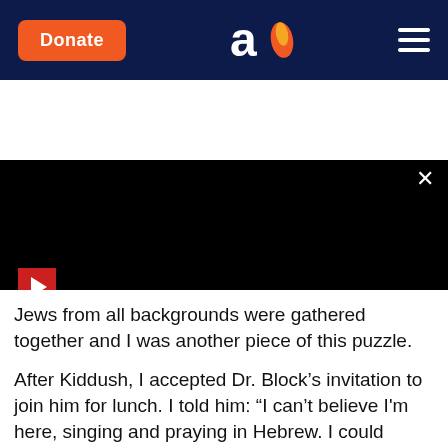Donate | Aish logo | Hamburger menu
[Figure (screenshot): Black video/media player area with red play button triangle icon on left, READ MORE red button centered, and close X button top-right, with tab navigation at bottom]
Jews from all backgrounds were gathered together and I was another piece of this puzzle.
After Kiddush, I accepted Dr. Block's invitation to join him for lunch. I told him: “I can’t believe I'm here, singing and praying in Hebrew. I could never have imagined it.”
He smiled and said, "It's not so hard to believe. Every Jew is born with a little Torah and a little Menorah